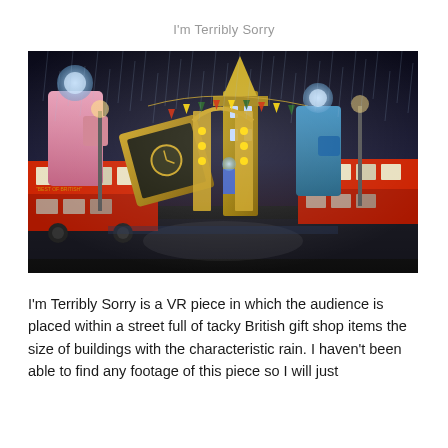I'm Terribly Sorry
[Figure (photo): A VR scene showing a rainy night street in London with giant British gift shop items as buildings, including large Queen figurines, red double-decker buses, Big Ben, and decorative elements, all in a dark atmospheric rendered style.]
I'm Terribly Sorry is a VR piece in which the audience is placed within a street full of tacky British gift shop items the size of buildings with the characteristic rain. I haven't been able to find any footage of this piece so I will just